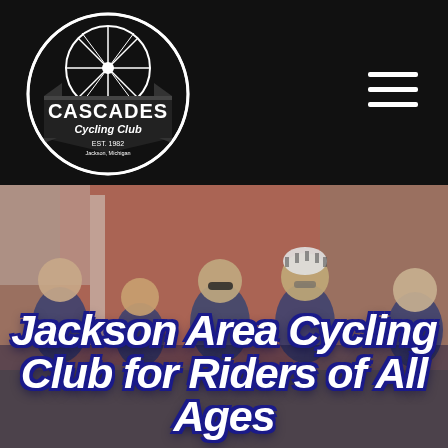Cascades Cycling Club - Navigation Header
[Figure (logo): Cascades Cycling Club circular logo with bicycle wheel design, EST. 1982, Jackson, Michigan, on black background]
[Figure (photo): Group photo of cyclists in blue and white jerseys standing together outdoors in front of a red building]
Jackson Area Cycling Club for Riders of All Ages